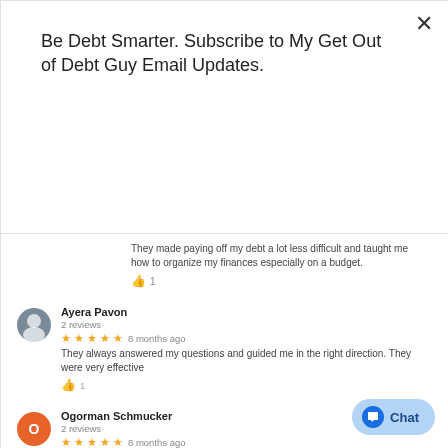Be Debt Smarter. Subscribe to My Get Out of Debt Guy Email Updates.
Subscribe
They made paying off my debt a lot less difficult and taught me how to organize my finances especially on a budget.
Ayera Pavon
2 reviews
★★★★★ 8 months ago
They always answered my questions and guided me in the right direction. They were very effective
Ogorman Schmucker
2 reviews
★★★★★ 8 months ago
It's been super helpful. Every rep i have worked with has been fantastic
Amy Turmelle
5 reviews
★★★★★ 8 months ago ·
They have an awesome and caring staff. Very easy to work with and made me feel like I made the right decision